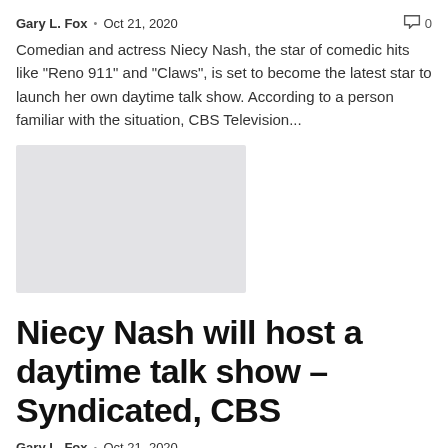Gary L. Fox  •  Oct 21, 2020   🗨 0
Comedian and actress Niecy Nash, the star of comedic hits like "Reno 911" and "Claws", is set to become the latest star to launch her own daytime talk show. According to a person familiar with the situation, CBS Television...
[Figure (photo): Gray placeholder image rectangle]
Niecy Nash will host a daytime talk show – Syndicated, CBS
Gary L. Fox  •  Oct 21, 2020
Move over, Ellen and Wendy, and make way for Niecy. Niecy Nash has already made her mark on the small screen as an actress. The...